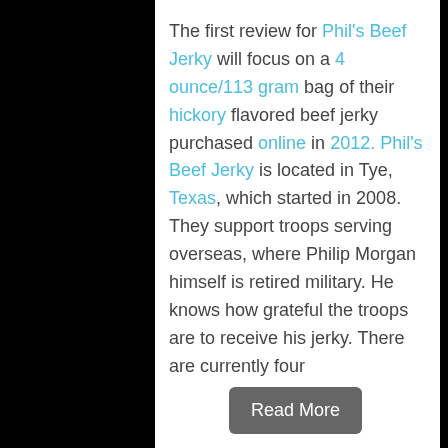The first review for Phil's Beef Jerky will focus on a 4 ounce/113 gram bag of their hickory flavored beef jerky purchased online in 2012. Phil's Beef Jerky is located in Tye, Texas, which started in 2008. They support troops serving overseas, where Philip Morgan himself is retired military. He knows how grateful the troops are to receive his jerky. There are currently four
Read More
Filed Under: Beef, Mammal
Ingredient Rating: Fair (4/10)